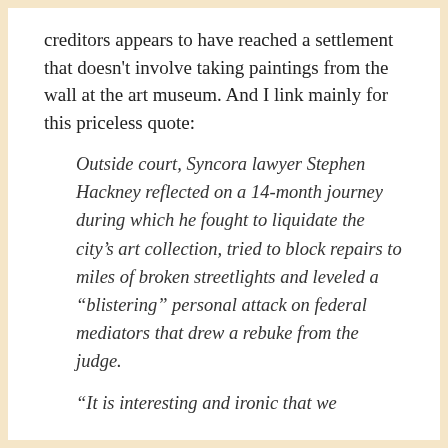creditors appears to have reached a settlement that doesn't involve taking paintings from the wall at the art museum. And I link mainly for this priceless quote:
Outside court, Syncora lawyer Stephen Hackney reflected on a 14-month journey during which he fought to liquidate the city's art collection, tried to block repairs to miles of broken streetlights and leveled a “blistering” personal attack on federal mediators that drew a rebuke from the judge.
“It is interesting and ironic that we